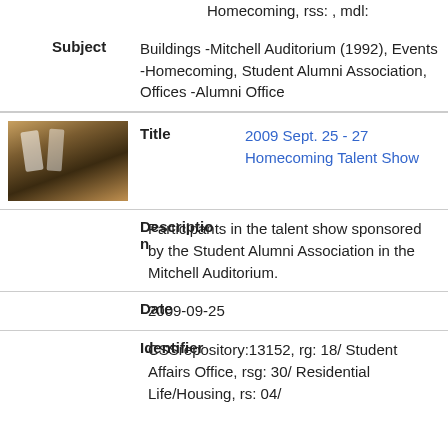Homecoming, rss: , mdl:
| Field | Value |
| --- | --- |
| Subject | Buildings -Mitchell Auditorium (1992), Events -Homecoming, Student Alumni Association, Offices -Alumni Office |
| Title | 2009 Sept. 25 - 27 Homecoming Talent Show |
| Description | Participants in the talent show sponsored by the Student Alumni Association in the Mitchell Auditorium. |
| Date | 2009-09-25 |
| Identifier | CSSrepository:13152, rg: 18/ Student Affairs Office, rsg: 30/ Residential Life/Housing, rs: 04/ |
[Figure (photo): Thumbnail photo of participants in a talent show performing on stage]